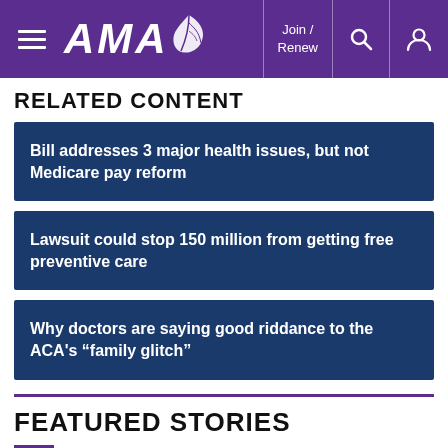AMA — Join / Renew
RELATED CONTENT
Bill addresses 3 major health issues, but not Medicare pay reform
Lawsuit could stop 150 million from getting free preventive care
Why doctors are saying good riddance to the ACA's “family glitch”
FEATURED STORIES